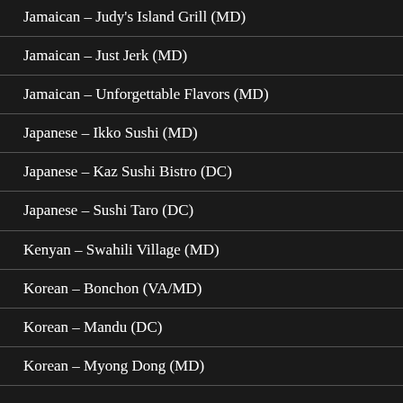Jamaican – Judy's Island Grill (MD)
Jamaican – Just Jerk (MD)
Jamaican – Unforgettable Flavors (MD)
Japanese – Ikko Sushi (MD)
Japanese – Kaz Sushi Bistro (DC)
Japanese – Sushi Taro (DC)
Kenyan – Swahili Village (MD)
Korean – Bonchon (VA/MD)
Korean – Mandu (DC)
Korean – Myong Dong (MD)